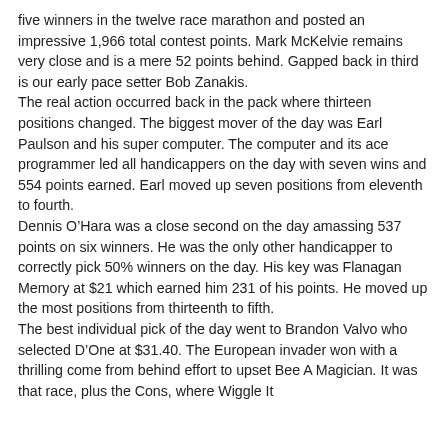five winners in the twelve race marathon and posted an impressive 1,966 total contest points.  Mark McKelvie remains very close and is a mere 52 points behind.  Gapped back in third is our early pace setter Bob Zanakis.
The real action occurred back in the pack where thirteen positions changed.  The biggest mover of the day was Earl Paulson and his super computer.  The computer and its ace programmer led all handicappers on the day with seven wins and 554 points earned.  Earl moved up seven positions from eleventh to fourth.
Dennis O’Hara was a close second on the day amassing 537 points on six winners.  He was the only other handicapper to correctly pick 50% winners on the day.  His key was Flanagan Memory at $21 which earned him 231 of his points.  He moved up the most positions from thirteenth to fifth.
The best individual pick of the day went to Brandon Valvo who selected D’One at $31.40.  The European invader won with a thrilling come from behind effort to upset Bee A Magician.  It was that race, plus the Cons, where Wiggle It